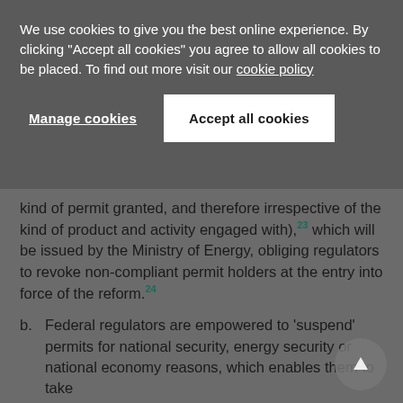We use cookies to give you the best online experience. By clicking "Accept all cookies" you agree to allow all cookies to be placed. To find out more visit our cookie policy
Manage cookies
Accept all cookies
kind of permit granted, and therefore irrespective of the kind of product and activity engaged with),23 which will be issued by the Ministry of Energy, obliging regulators to revoke non-compliant permit holders at the entry into force of the reform.24
b. Federal regulators are empowered to 'suspend' permits for national security, energy security or national economy reasons, which enables them to take